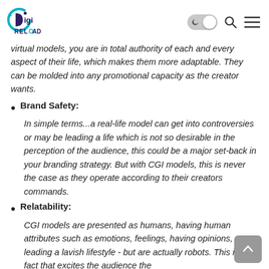Digi Reload
virtual models, you are in total authority of each and every aspect of their life, which makes them more adaptable. They can be molded into any promotional capacity as the creator wants.
Brand Safety: In simple terms...a real-life model can get into controversies or may be leading a life which is not so desirable in the perception of the audience, this could be a major set-back in your branding strategy. But with CGI models, this is never the case as they operate according to their creators commands.
Relatability: CGI models are presented as humans, having human attributes such as emotions, feelings, having opinions, leading a lavish lifestyle - but are actually robots. This is the fact that excites the audience the